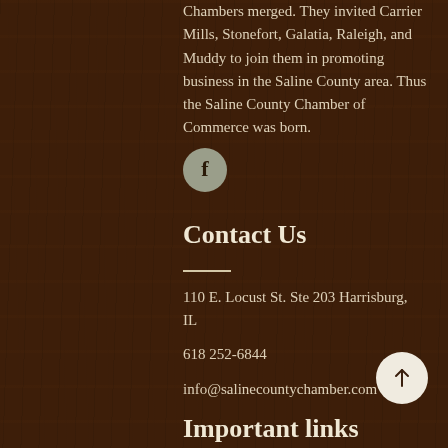Chambers merged. They invited Carrier Mills, Stonefort, Galatia, Raleigh, and Muddy to join them in promoting business in the Saline County area. Thus the Saline County Chamber of Commerce was born.
[Figure (illustration): Facebook social media icon — circular button with letter f]
Contact Us
110 E. Locust St. Ste 203 Harrisburg, IL
618 252-6844
info@salinecountychamber.com
[Figure (illustration): Scroll-to-top arrow button — circular white button with upward arrow]
Important links